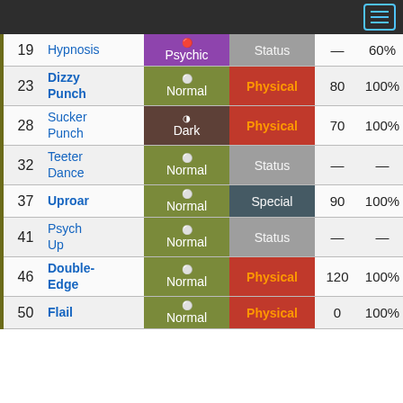Navigation menu
| Lv | Move | Type | Category | Power | Acc. |
| --- | --- | --- | --- | --- | --- |
| 19 | Hypnosis | Psychic | Status | — | 60% |
| 23 | Dizzy Punch | Normal | Physical | 80 | 100% |
| 28 | Sucker Punch | Dark | Physical | 70 | 100% |
| 32 | Teeter Dance | Normal | Status | — | — |
| 37 | Uproar | Normal | Special | 90 | 100% |
| 41 | Psych Up | Normal | Status | — | — |
| 46 | Double-Edge | Normal | Physical | 120 | 100% |
| 50 | Flail | Normal | Physical | 0 | 100% |